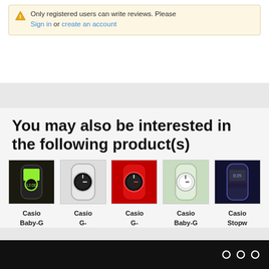Only registered users can write reviews. Please Sign in or create an account
You may also be interested in the following product(s)
[Figure (photo): Casio Baby-G watch with green/black digital face]
Casio Baby-G
[Figure (photo): Casio G- watch white with black face]
Casio G-
[Figure (photo): Casio G- watch red with black face]
Casio G-
[Figure (photo): Casio Baby-G white/light green watch]
Casio Baby-G
[Figure (photo): Casio Stopwatch digital face blue/purple watch]
Casio Stopw